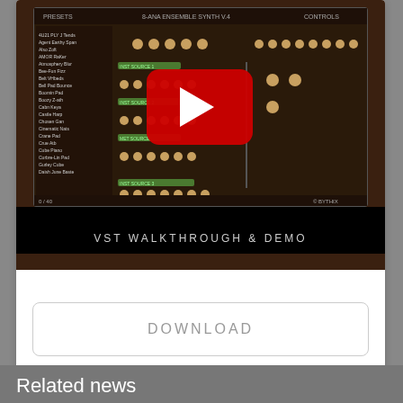[Figure (screenshot): YouTube video thumbnail showing a VST synthesizer interface with the YouTube play button overlay, labeled 'VST WALKTHROUGH & DEMO' at the bottom, followed by a black bar.]
DOWNLOAD
Return
Related news